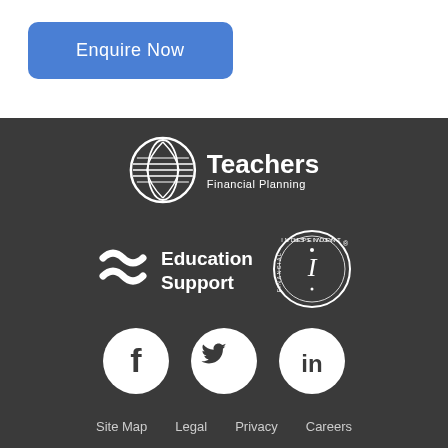Enquire Now
[Figure (logo): Teachers Financial Planning logo — leaf globe icon with 'Teachers Financial Planning' wordmark in white]
[Figure (logo): Education Support logo — wave/swoosh icon with 'Education Support' wordmark in white]
[Figure (logo): Independent Financial Adviser circular stamp logo in white]
[Figure (logo): Social media icons — Facebook, Twitter, LinkedIn — white icons on white circles against dark background]
Site Map   Legal   Privacy   Careers